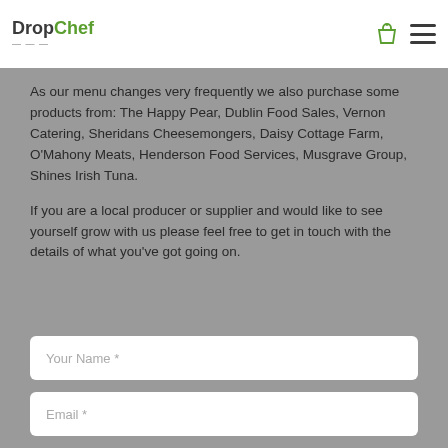DropChef
As our menu changes very frequently we also purchase some products from: The Happy Pear, Dublin Food Sales, Vernon Catering, Sheridans Cheesemongers, Daisy Cottage Farm, O'Mahony Meats, Henderson Food Services, Musgrave Group, Shines Irish Tuna.
If you are a local producer or supplier and would like to see yourself grow with us please feel free to get in touch with the details of what you've got going on.
Your Name *
Email *